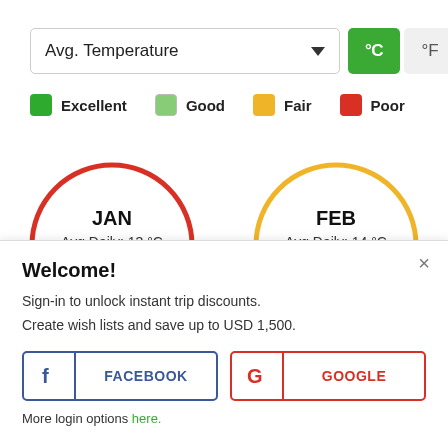[Figure (screenshot): Dropdown selector showing 'Avg. Temperature' with arrow, and temperature toggle buttons °C (active, green) and °F]
[Figure (infographic): Legend row: Excellent (dark green square), Good (light green square), Fair (yellow square), Poor (red square)]
[Figure (infographic): Two semicircular gauge charts: JAN with red border showing Avg Daily: 13°C, FEB with yellow border showing Avg Daily: 14°C]
Welcome!
Sign-in to unlock instant trip discounts.
Create wish lists and save up to USD 1,500.
[Figure (screenshot): Facebook login button with f icon and FACEBOOK label in blue]
[Figure (screenshot): Google login button with G icon and GOOGLE label in red]
More login options here.